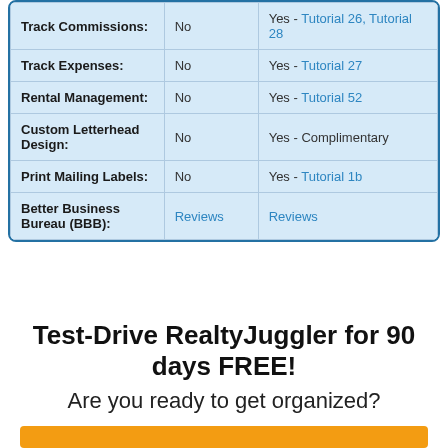| Feature | No | Yes |
| --- | --- | --- |
| Track Commissions: | No | Yes - Tutorial 26, Tutorial 28 |
| Track Expenses: | No | Yes - Tutorial 27 |
| Rental Management: | No | Yes - Tutorial 52 |
| Custom Letterhead Design: | No | Yes - Complimentary |
| Print Mailing Labels: | No | Yes - Tutorial 1b |
| Better Business Bureau (BBB): | Reviews | Reviews |
Test-Drive RealtyJuggler for 90 days FREE!
Are you ready to get organized?